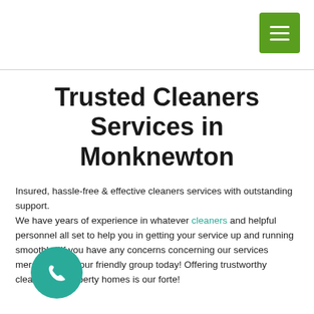Trusted Cleaners Services in Monknewton
Insured, hassle-free & effective cleaners services with outstanding support.
We have years of experience in whatever cleaners and helpful personnel all set to help you in getting your service up and running smoothly. IIf you have any concerns concerning our services merely contact our friendly group today! Offering trustworthy cleaners to property homes is our forte!
Eirean Solutions are one of the most extremely rated cleaning business in Ireland! With lots of evaluations from our